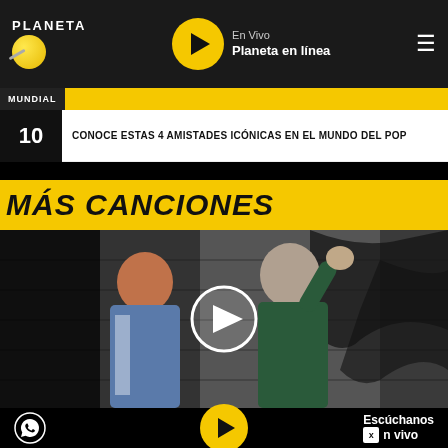PLANETA — En Vivo Planeta en línea
MUNDIAL
10  CONOCE ESTAS 4 AMISTADES ICÓNICAS EN EL MUNDO DEL POP
MÁS CANCIONES
[Figure (photo): Two men standing in front of a graffiti wall. One with red/auburn hair wearing a jacket, another wearing a dark green hoodie with arm raised. A circular play button overlay is centered on the image.]
Escúchanos en vivo